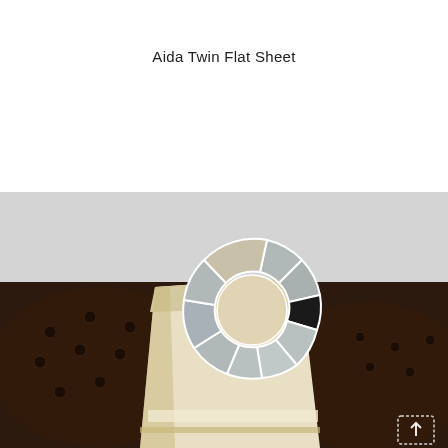Aida Twin Flat Sheet
[Figure (photo): A cream/beige flat sheet draped over the back of a dark brown tufted leather Chesterfield sofa. A circular color swatch wheel selector graphic is overlaid on the sheet, showing various grey and one black segment. A small upload/share icon appears in the lower right corner of the image.]